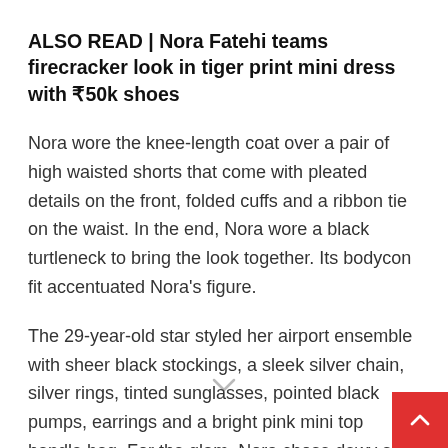ALSO READ | Nora Fatehi teams firecracker look in tiger print mini dress with ₹50k shoes
Nora wore the knee-length coat over a pair of high waisted shorts that come with pleated details on the front, folded cuffs and a ribbon tie on the waist. In the end, Nora wore a black turtleneck to bring the look together. Its bodycon fit accentuated Nora's figure.
The 29-year-old star styled her airport ensemble with sheer black stockings, a sleek silver chain, silver rings, tinted sunglasses, pointed black pumps, earrings and a bright pink mini top handle bag. For the glam, Nora chose dewy skin, blush pink lip shade, side-parted open tresses and blushed cheeks